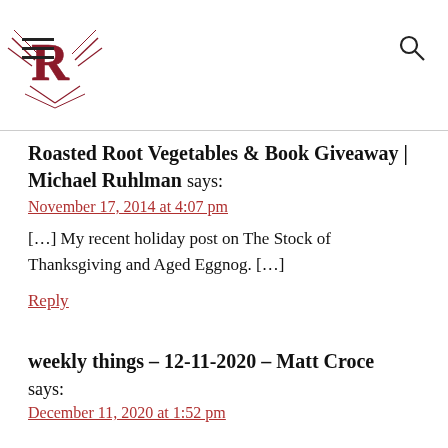Ruhlman logo header with hamburger menu and search icon
Roasted Root Vegetables & Book Giveaway | Michael Ruhlman says:
November 17, 2014 at 4:07 pm
[…] My recent holiday post on The Stock of Thanksgiving and Aged Eggnog. […]
Reply
weekly things – 12-11-2020 – Matt Croce says:
December 11, 2020 at 1:52 pm